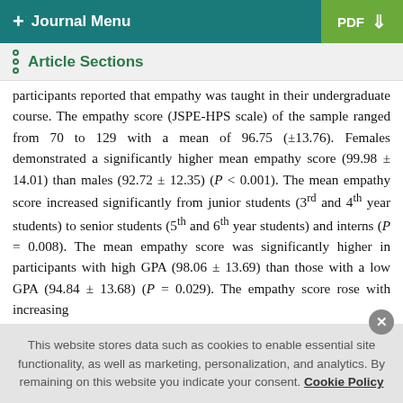+ Journal Menu | PDF ↓
Article Sections
participants reported that empathy was taught in their undergraduate course. The empathy score (JSPE-HPS scale) of the sample ranged from 70 to 129 with a mean of 96.75 (±13.76). Females demonstrated a significantly higher mean empathy score (99.98 ± 14.01) than males (92.72 ± 12.35) (P < 0.001). The mean empathy score increased significantly from junior students (3rd and 4th year students) to senior students (5th and 6th year students) and interns (P = 0.008). The mean empathy score was significantly higher in participants with high GPA (98.06 ± 13.69) than those with a low GPA (94.84 ± 13.68) (P = 0.029). The empathy score rose with increasing
This website stores data such as cookies to enable essential site functionality, as well as marketing, personalization, and analytics. By remaining on this website you indicate your consent. Cookie Policy